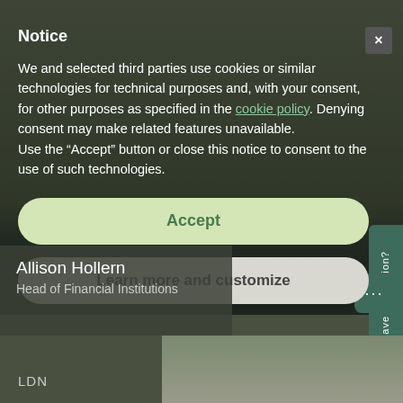[Figure (screenshot): Screenshot of a website with a cookie consent notice modal overlay. Background shows a greyscale photo of a smiling woman. Below is a profile card for Allison Hollern, Head of Financial Institutions, with LDN label. A sidebar tab and chat bubble widget are also visible.]
Notice
We and selected third parties use cookies or similar technologies for technical purposes and, with your consent, for other purposes as specified in the cookie policy. Denying consent may make related features unavailable.
Use the “Accept” button or close this notice to consent to the use of such technologies.
Accept
Learn more and customize
Allison Hollern
Head of Financial Institutions
LDN